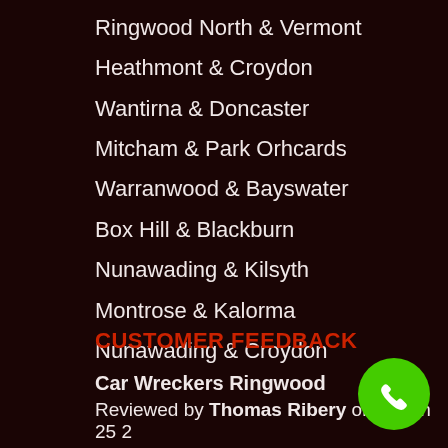Ringwood North & Vermont
Heathmont & Croydon
Wantirna & Doncaster
Mitcham & Park Orhcards
Warranwood & Bayswater
Box Hill & Blackburn
Nunawading & Kilsyth
Montrose & Kalorma
Nunawading & Croydon
CUSTOMER FEEDBACK
Car Wreckers Ringwood
Reviewed by Thomas Ribery on March 25 2
Cash For My Car Ringwood
[Figure (illustration): Green circular phone/call button icon in the bottom right corner]